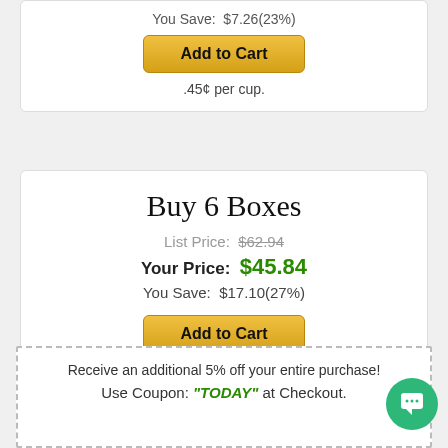You Save: $7.26(23%)
Add to Cart
.45¢ per cup.
Buy 6 Boxes
List Price: $62.94
Your Price: $45.84
You Save: $17.10(27%)
Add to Cart
.42¢ per cup.
Receive an additional 5% off your entire purchase!
Use Coupon: "TODAY" at Checkout.